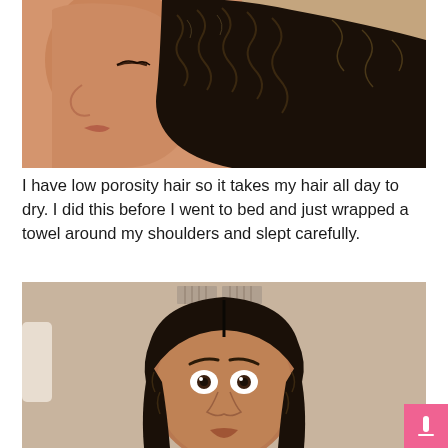[Figure (photo): Side profile of a woman with curly/wavy natural dark hair, eyes closed, against a warm beige background. Another view of curly hair visible on the right.]
I have low porosity hair so it takes my hair all day to dry. I did this before I went to bed and just wrapped a towel around my shoulders and slept carefully.
[Figure (photo): Front-facing photo of a woman with natural curly/wavy hair parted in the middle, wide eyes looking at the camera, in a beige bathroom with a vent visible on the wall behind her.]